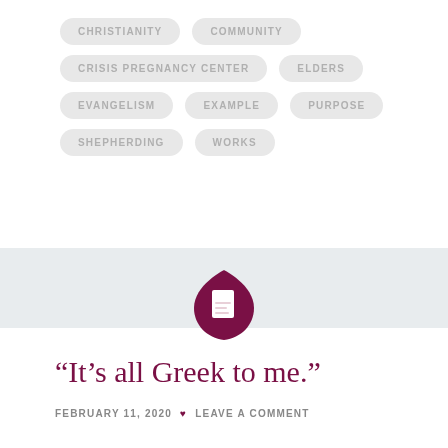CHRISTIANITY
COMMUNITY
CRISIS PREGNANCY CENTER
ELDERS
EVANGELISM
EXAMPLE
PURPOSE
SHEPHERDING
WORKS
[Figure (logo): Dark magenta/purple circular logo with a document/page icon inside]
“It’s all Greek to me.”
FEBRUARY 11, 2020 ♥ LEAVE A COMMENT